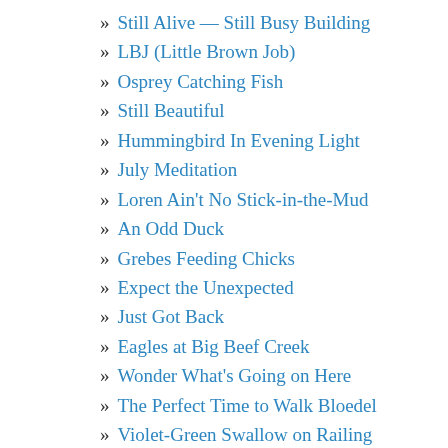Still Alive — Still Busy Building
LBJ (Little Brown Job)
Osprey Catching Fish
Still Beautiful
Hummingbird In Evening Light
July Meditation
Loren Ain't No Stick-in-the-Mud
An Odd Duck
Grebes Feeding Chicks
Expect the Unexpected
Just Got Back
Eagles at Big Beef Creek
Wonder What's Going on Here
The Perfect Time to Walk Bloedel
Violet-Green Swallow on Railing
Great Blue Herons Jockeying for Best